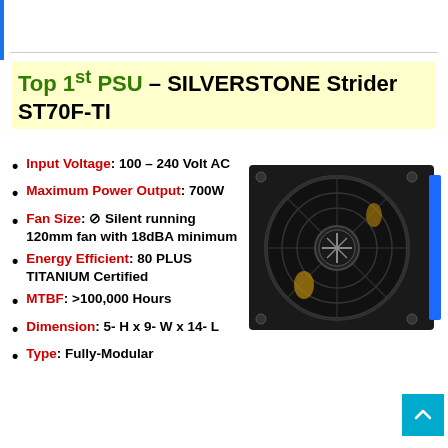Top 1st PSU – SILVERSTONE Strider ST70F-TI
Input Voltage: 100 – 240 Volt AC
Maximum Power Output: 700W
Fan Size: ⊘ Silent running 120mm fan with 18dBA minimum
Energy Efficient: 80 PLUS TITANIUM Certified
MTBF: >100,000 Hours
Dimension: 5- H x 9- W x 14- L
Type: Fully-Modular
[Figure (photo): Photo of SILVERSTONE Strider ST70F-TI PSU showing the front face with a large 120mm fan grille and SilverStone logo, with a blue accent on the side]